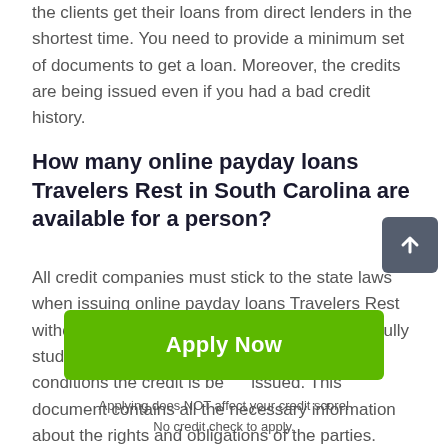the clients get their loans from direct lenders in the shortest time. You need to provide a minimum set of documents to get a loan. Moreover, the credits are being issued even if you had a bad credit history.
How many online payday loans Travelers Rest in South Carolina are available for a person?
All credit companies must stick to the state laws when issuing online payday loans Travelers Rest without credit history check. A client must carefully study the loan agreement to know on what conditions the credit is being issued. This document contains all the necessary information about the rights and obligations of the parties.
[Figure (other): Green Apply Now button]
Applying does NOT affect your credit score!
No credit check to apply.